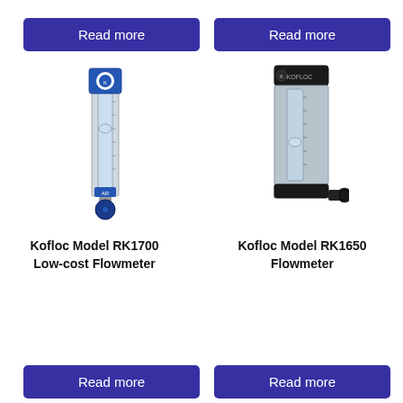[Figure (other): Read more button - top left, purple/indigo background]
[Figure (other): Read more button - top right, purple/indigo background]
[Figure (photo): Kofloc Model RK1700 Low-cost Flowmeter - vertical tube flowmeter with blue fittings and scale]
[Figure (photo): Kofloc Model RK1650 Flowmeter - vertical tube flowmeter with black fittings and dark housing]
Kofloc Model RK1700 Low-cost Flowmeter
Kofloc Model RK1650 Flowmeter
[Figure (other): Read more button - bottom left, purple/indigo background]
[Figure (other): Read more button - bottom right, purple/indigo background]